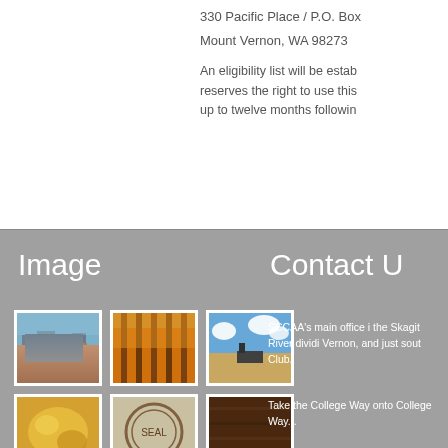330 Pacific Place / P.O. Box
Mount Vernon, WA  98273
An eligibility list will be estab... reserves the right to use this up to twelve months followin
Image
Contact U
[Figure (photo): City skyline aerial view with buildings and cloudy sky]
[Figure (photo): Autumn tree-lined avenue with golden yellow trees]
[Figure (photo): Desert road with blue sky and clouds, vehicle visible]
[Figure (photo): Close-up of food, appears yellow/golden]
[Figure (photo): Circular logo or seal]
[Figure (photo): Dark wood or interior surface]
SCCAA's main office i... the Skagit River dividi Vernon, and just sout Club.
Take the College Way onto College Way...